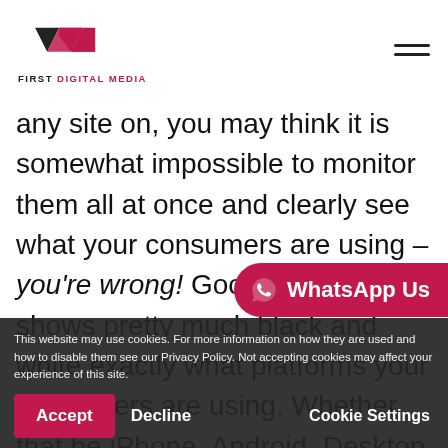First Digital Media logo and hamburger menu
any site on, you may think it is somewhat impossible to monitor them all at once and clearly see what your consumers are using – you're wrong! Google Analytics shows pretty much black and white exactly what platforms your consumers are using. Whether that be iPhone, Android, Desktop or Tablet you can see in real time how your consumers are actively [interact with your] business.
[Figure (logo): WhatsApp Us button — crimson pill-shaped button with WhatsApp icon and text 'WhatsApp Us']
This website may use cookies. For more information on how they are used and how to disable them see our Privacy Policy. Not accepting cookies may affect your experience of this site.